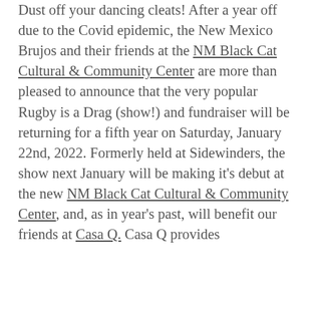Dust off your dancing cleats! After a year off due to the Covid epidemic, the New Mexico Brujos and their friends at the NM Black Cat Cultural & Community Center are more than pleased to announce that the very popular Rugby is a Drag (show!) and fundraiser will be returning for a fifth year on Saturday, January 22nd, 2022. Formerly held at Sidewinders, the show next January will be making it's debut at the new NM Black Cat Cultural & Community Center, and, as in year's past, will benefit our friends at Casa Q. Casa Q provides